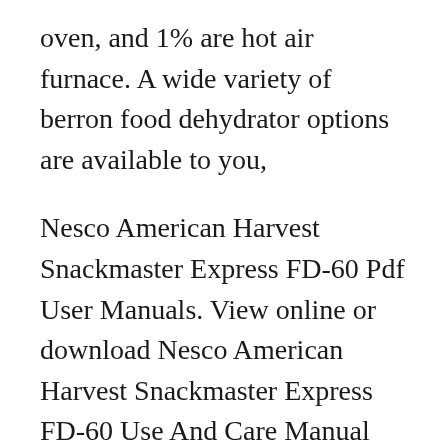oven, and 1% are hot air furnace. A wide variety of berron food dehydrator options are available to you,
Nesco American Harvest Snackmaster Express FD-60 Pdf User Manuals. View online or download Nesco American Harvest Snackmaster Express FD-60 Use And Care Manual Manual for Nevco Food Dehydrator... Need manual for Nevco, dehydrator model #H-8011. Asked by Jose on 01/01/2009 25 Answers. ManualsOnline posted an answer 11 years, 1 month ago. The ManualsOnline team has found the manual for this product! We hope it helps solve your problem. Get the Manual Here. posted an answer 6 years, 4 months ago. 5 Hell